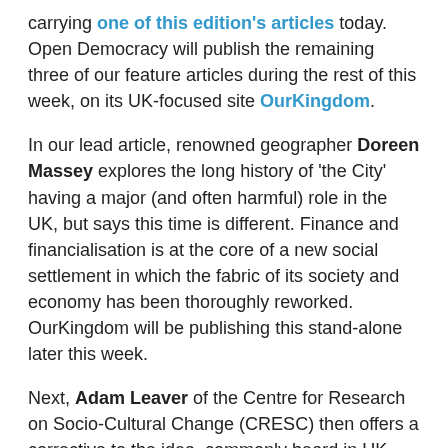carrying one of this edition's articles today. Open Democracy will publish the remaining three of our feature articles during the rest of this week, on its UK-focused site OurKingdom.
In our lead article, renowned geographer Doreen Massey explores the long history of ‘the City’ having a major (and often harmful) role in the UK, but says this time is different. Finance and financialisation is at the core of a new social settlement in which the fabric of its society and economy has been thoroughly reworked. OurKingdom will be publishing this stand-alone later this week.
Next, Adam Leaver of the Centre for Research on Socio-Cultural Change (CRESC) then offers a corrective to the idea, commonly heard in UK policy-making and opinion-forming circles, that London is the engine of Britain’s prosperity. Finance, he explains, enables London and its hinterland to enjoys the “metropolitanisation of gains” from economic activity in the whole country - while the rest of Britain suffers “the nationalisation of losses” emanating from London’s financial centre. OurKingdom will be publishing this